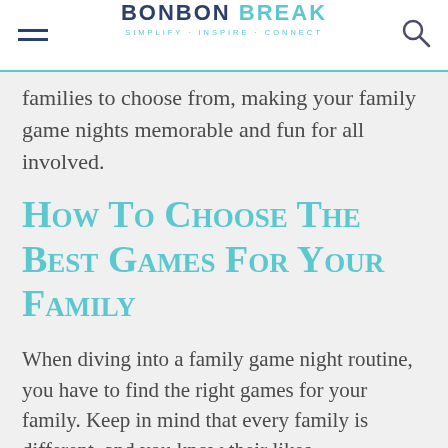BONBON BREAK — SIMPLIFY · INSPIRE · CONNECT
families to choose from, making your family game nights memorable and fun for all involved.
How to Choose the Best Games for Your Family
When diving into a family game night routine, you have to find the right games for your family. Keep in mind that every family is different, and you know their likes